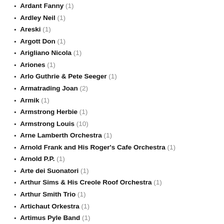Ardant Fanny (1)
Ardley Neil (1)
Areski (1)
Argott Don (1)
Arigliano Nicola (1)
Ariones (1)
Arlo Guthrie & Pete Seeger (1)
Armatrading Joan (2)
Armik (1)
Armstrong Herbie (1)
Armstrong Louis (10)
Arne Lamberth Orchestra (1)
Arnold Frank and His Roger's Cafe Orchestra (1)
Arnold P.P. (1)
Arte dei Suonatori (1)
Arthur Sims & His Creole Roof Orchestra (1)
Arthur Smith Trio (1)
Artichaut Orkestra (1)
Artimus Pyle Band (1)
Ashby Dorothy (1)
Ashcroft Richard (1)